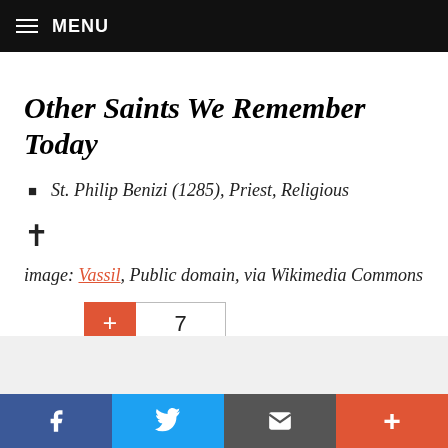MENU
Other Saints We Remember Today
St. Philip Benizi (1285), Priest, Religious
[Figure (other): Cross / Maltese cross symbol (✠)]
image: Vassil, Public domain, via Wikimedia Commons
[Figure (infographic): Share button with + icon (red) and count badge showing 7]
[Figure (infographic): Social sharing bar with Facebook, Twitter, Email, and + buttons]